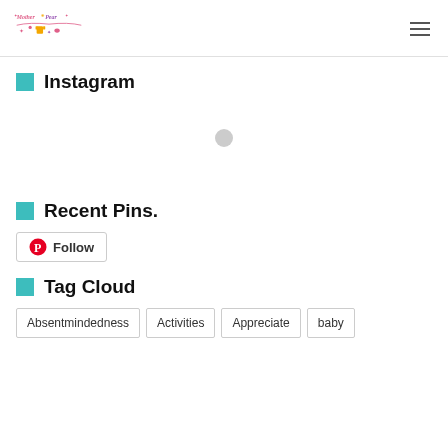Mother Pear (logo)
Instagram
[Figure (other): Loading spinner circle in white Instagram widget area]
Recent Pins.
Follow
Tag Cloud
Absentmindedness
Activities
Appreciate
baby